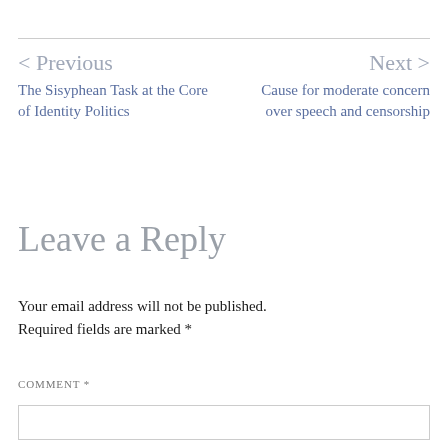< Previous
The Sisyphean Task at the Core of Identity Politics
Next >
Cause for moderate concern over speech and censorship
Leave a Reply
Your email address will not be published. Required fields are marked *
COMMENT *